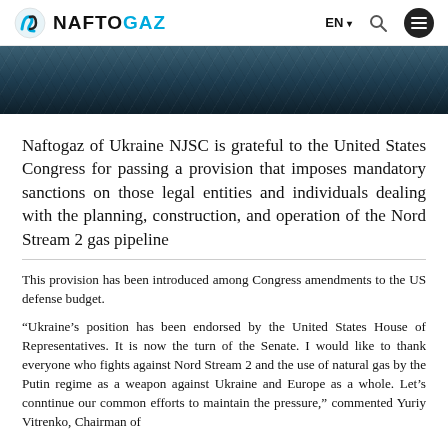NAFTOGAZ | EN
[Figure (photo): Dark blue water/ocean surface hero image]
Naftogaz of Ukraine NJSC is grateful to the United States Congress for passing a provision that imposes mandatory sanctions on those legal entities and individuals dealing with the planning, construction, and operation of the Nord Stream 2 gas pipeline
This provision has been introduced among Congress amendments to the US defense budget.
“Ukraine’s position has been endorsed by the United States House of Representatives. It is now the turn of the Senate. I would like to thank everyone who fights against Nord Stream 2 and the use of natural gas by the Putin regime as a weapon against Ukraine and Europe as a whole. Let’s conntinue our common efforts to maintain the pressure,” commented Yuriy Vitrenko, Chairman of